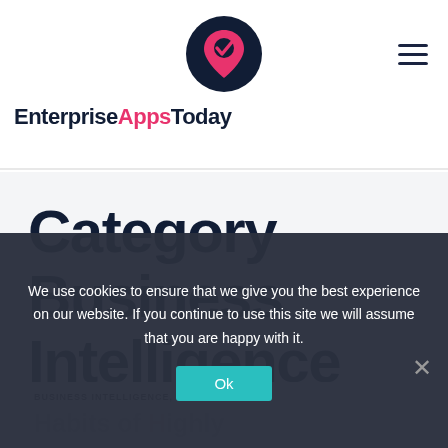EnterpriseAppsToday
Category Business Intelligence
BUSINESS INTELLIGENCE, NEWS
Habits of Highly
We use cookies to ensure that we give you the best experience on our website. If you continue to use this site we will assume that you are happy with it.